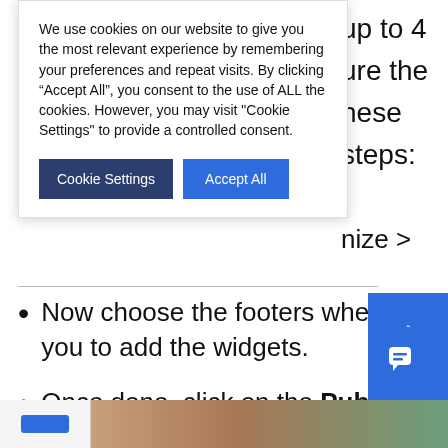We use cookies on our website to give you the most relevant experience by remembering your preferences and repeat visits. By clicking “Accept All”, you consent to the use of ALL the cookies. However, you may visit "Cookie Settings" to provide a controlled consent.
up to 4
ure the
hese steps:
nize >
Now choose the footers where you to add the widgets.
Once done, click on the Publish button to save.
[Figure (screenshot): Bottom image strip showing a webpage screenshot with blue button and photos of people]